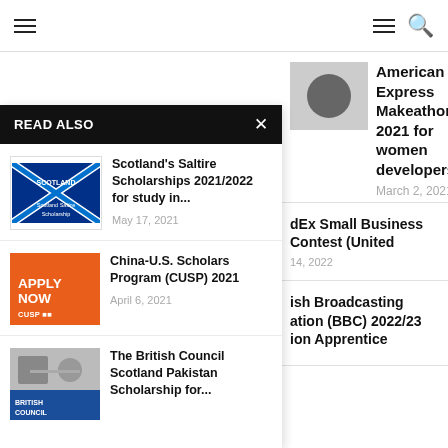Navigation bar with hamburger menu and search icon
American Express Makeathon 2021 for women developers
March 2, 2021
READ ALSO
Scotland's Saltire Scholarships 2021/2022 for study in...
May 17, 2021
China-U.S. Scholars Program (CUSP) 2021
April 6, 2021
The British Council Scotland Pakistan Scholarship for...
dEx Small Business Contest (United
14, 2022
ish Broadcasting ation (BBC) 2022/23 ion Apprentice